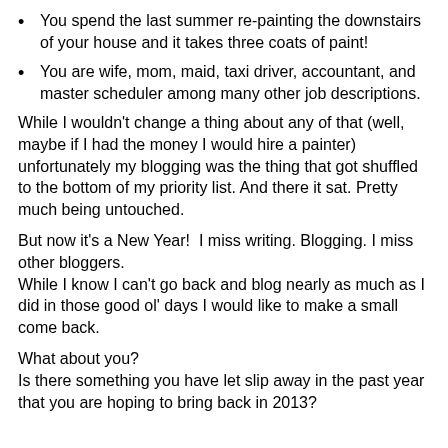You spend the last summer re-painting the downstairs of your house and it takes three coats of paint!
You are wife, mom, maid, taxi driver, accountant, and master scheduler among many other job descriptions.
While I wouldn't change a thing about any of that (well, maybe if I had the money I would hire a painter) unfortunately my blogging was the thing that got shuffled to the bottom of my priority list. And there it sat. Pretty much being untouched.
But now it's a New Year!  I miss writing. Blogging. I miss other bloggers.
While I know I can't go back and blog nearly as much as I did in those good ol' days I would like to make a small come back.
What about you?
Is there something you have let slip away in the past year that you are hoping to bring back in 2013?